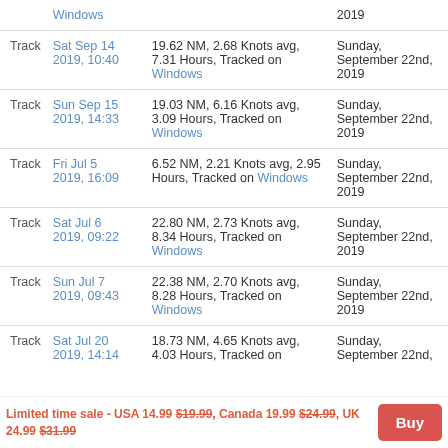| Type | Date | Details | Added |
| --- | --- | --- | --- |
| Track | Windows
2019 |  | 2019 |
| Track | Sat Sep 14 2019, 10:40 | 19.62 NM, 2.68 Knots avg, 7.31 Hours, Tracked on Windows | Sunday, September 22nd, 2019 |
| Track | Sun Sep 15 2019, 14:33 | 19.03 NM, 6.16 Knots avg, 3.09 Hours, Tracked on Windows | Sunday, September 22nd, 2019 |
| Track | Fri Jul 5 2019, 16:09 | 6.52 NM, 2.21 Knots avg, 2.95 Hours, Tracked on Windows | Sunday, September 22nd, 2019 |
| Track | Sat Jul 6 2019, 09:22 | 22.80 NM, 2.73 Knots avg, 8.34 Hours, Tracked on Windows | Sunday, September 22nd, 2019 |
| Track | Sun Jul 7 2019, 09:43 | 22.38 NM, 2.70 Knots avg, 8.28 Hours, Tracked on Windows | Sunday, September 22nd, 2019 |
| Track | Sat Jul 20 2019, 14:14 | 18.73 NM, 4.65 Knots avg, 4.03 Hours, Tracked on | Sunday, September 22nd, |
Limited time sale - USA 14.99 $19.99, Canada 19.99 $24.99, UK 24.99 $31.99